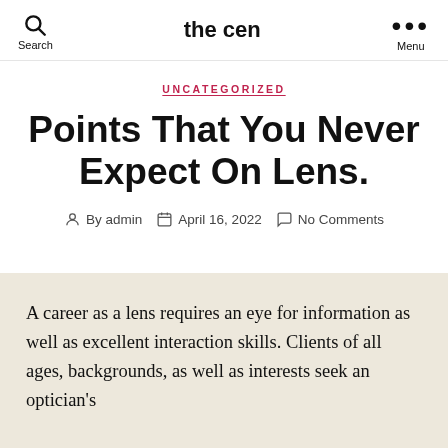the cen
UNCATEGORIZED
Points That You Never Expect On Lens.
By admin   April 16, 2022   No Comments
A career as a lens requires an eye for information as well as excellent interaction skills. Clients of all ages, backgrounds, as well as interests seek an optician's